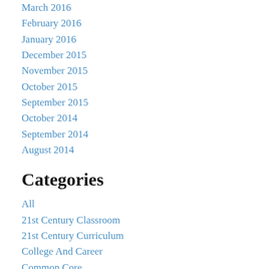March 2016
February 2016
January 2016
December 2015
November 2015
October 2015
September 2015
October 2014
September 2014
August 2014
Categories
All
21st Century Classroom
21st Century Curriculum
College And Career
Common Core
Communication
Culture
Curriculum
Equity